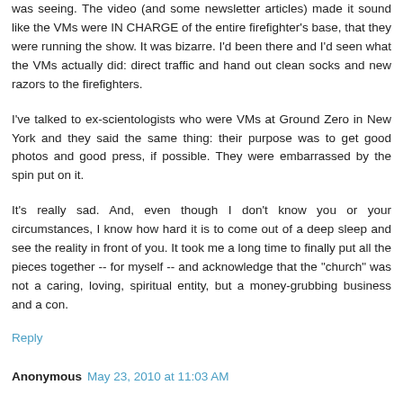was seeing. The video (and some newsletter articles) made it sound like the VMs were IN CHARGE of the entire firefighter's base, that they were running the show. It was bizarre. I'd been there and I'd seen what the VMs actually did: direct traffic and hand out clean socks and new razors to the firefighters.
I've talked to ex-scientologists who were VMs at Ground Zero in New York and they said the same thing: their purpose was to get good photos and good press, if possible. They were embarrassed by the spin put on it.
It's really sad. And, even though I don't know you or your circumstances, I know how hard it is to come out of a deep sleep and see the reality in front of you. It took me a long time to finally put all the pieces together -- for myself -- and acknowledge that the "church" was not a caring, loving, spiritual entity, but a money-grubbing business and a con.
Reply
Anonymous May 23, 2010 at 11:03 AM